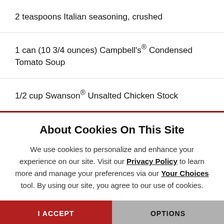2 teaspoons Italian seasoning, crushed
1 can (10 3/4 ounces) Campbell's® Condensed Tomato Soup
1/2 cup Swanson® Unsalted Chicken Stock
About Cookies On This Site
We use cookies to personalize and enhance your experience on our site. Visit our Privacy Policy to learn more and manage your preferences via our Your Choices tool. By using our site, you agree to our use of cookies.
I ACCEPT | OPTIONS